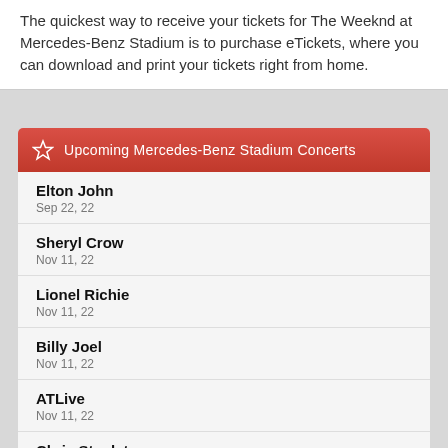The quickest way to receive your tickets for The Weeknd at Mercedes-Benz Stadium is to purchase eTickets, where you can download and print your tickets right from home.
Upcoming Mercedes-Benz Stadium Concerts
Elton John
Sep 22, 22
Sheryl Crow
Nov 11, 22
Lionel Richie
Nov 11, 22
Billy Joel
Nov 11, 22
ATLive
Nov 11, 22
Chris Stapleton